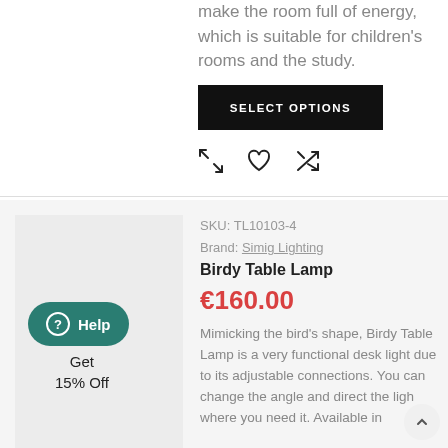make the room full of energy, which is suitable for children's rooms and the study.
SELECT OPTIONS
SKU: TL10103-4
Brand: Simig Lighting
Birdy Table Lamp
€160.00
Mimicking the bird's shape, Birdy Table Lamp is a very functional desk light due to its adjustable connections. You can change the angle and direct the light where you need it. Available in